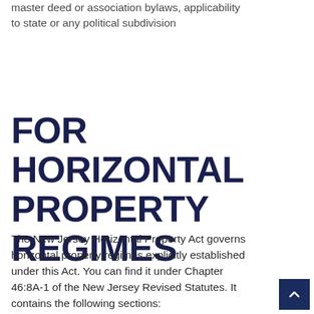master deed or association bylaws, applicability to state or any political subdivision
FOR HORIZONTAL PROPERTY REGIMES
The New Jersey Horizontal Property Act governs horizontal property regimes explicitly established under this Act. You can find it under Chapter 46:8A-1 of the New Jersey Revised Statutes. It contains the following sections: